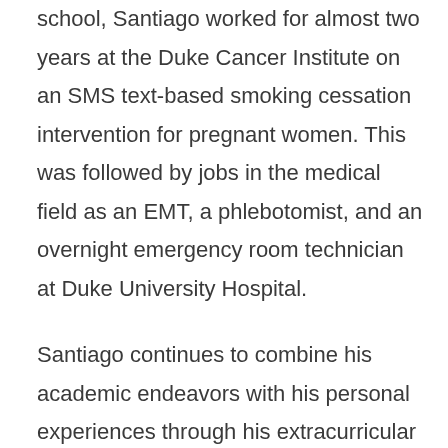school, Santiago worked for almost two years at the Duke Cancer Institute on an SMS text-based smoking cessation intervention for pregnant women. This was followed by jobs in the medical field as an EMT, a phlebotomist, and an overnight emergency room technician at Duke University Hospital.
Santiago continues to combine his academic endeavors with his personal experiences through his extracurricular involvements and his global health projects. Currently